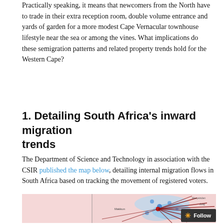Practically speaking, it means that newcomers from the North have to trade in their extra reception room, double volume entrance and yards of garden for a more modest Cape Vernacular townhouse lifestyle near the sea or among the vines. What implications do these semigration patterns and related property trends hold for the Western Cape?
1. Detailing South Africa's inward migration trends
The Department of Science and Technology in association with the CSIR published the map below, detailing internal migration flows in South Africa based on tracking the movement of registered voters.
[Figure (map): Map of South Africa showing internal migration flows with blue density clusters and red/dark arrows radiating from a central point, indicating migration movement of registered voters. A pink/light salmon background covers the country outline. The eastern region shows dense blue clusters with radiating arrow lines.]